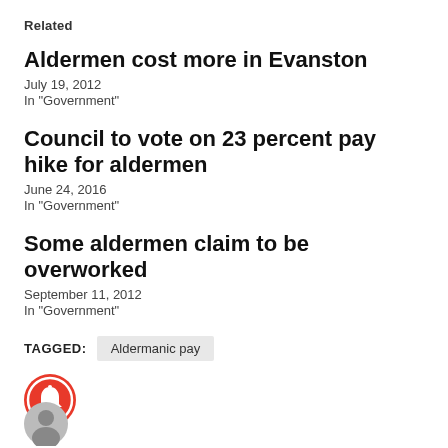Related
Aldermen cost more in Evanston
July 19, 2012
In "Government"
Council to vote on 23 percent pay hike for aldermen
June 24, 2016
In "Government"
Some aldermen claim to be overworked
September 11, 2012
In "Government"
TAGGED:  Aldermanic pay
[Figure (illustration): Red circle notification bell icon]